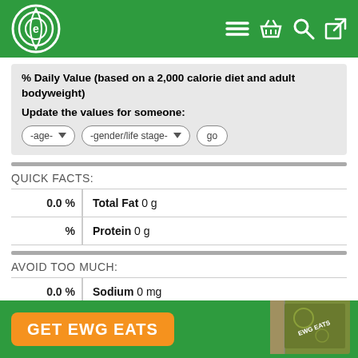EWG header navigation bar with logo and icons
% Daily Value (based on a 2,000 calorie diet and adult bodyweight)
Update the values for someone:
-age- dropdown, -gender/life stage- dropdown, go button
QUICK FACTS:
| % | Nutrient |
| --- | --- |
| 0.0 % | Total Fat 0 g |
| %  | Protein 0 g |
AVOID TOO MUCH:
| % | Nutrient |
| --- | --- |
| 0.0 % | Sodium 0 mg |
|  | Added Sugar Ingredients: none listed |
GET EWG EATS